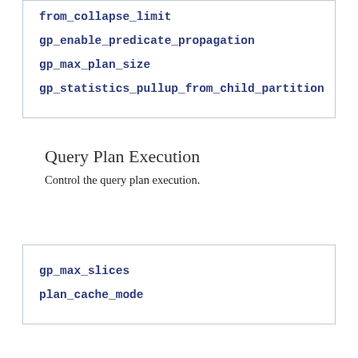from_collapse_limit
gp_enable_predicate_propagation
gp_max_plan_size
gp_statistics_pullup_from_child_partition
Query Plan Execution
Control the query plan execution.
gp_max_slices
plan_cache_mode